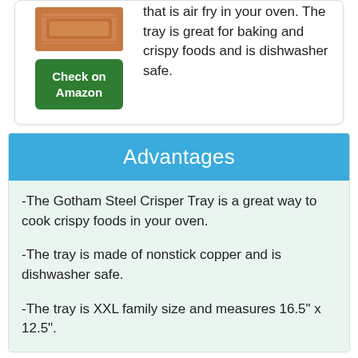[Figure (photo): Product image of a copper/bronze crisper tray]
Check on Amazon
that is air fry in your oven. The tray is great for baking and crispy foods and is dishwasher safe.
Advantages
-The Gotham Steel Crisper Tray is a great way to cook crispy foods in your oven.
-The tray is made of nonstick copper and is dishwasher safe.
-The tray is XXL family size and measures 16.5" x 12.5".